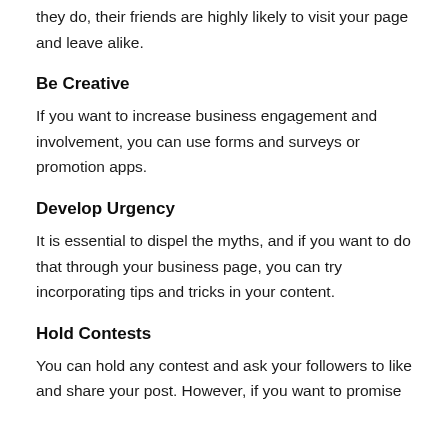they do, their friends are highly likely to visit your page and leave alike.
Be Creative
If you want to increase business engagement and involvement, you can use forms and surveys or promotion apps.
Develop Urgency
It is essential to dispel the myths, and if you want to do that through your business page, you can try incorporating tips and tricks in your content.
Hold Contests
You can hold any contest and ask your followers to like and share your post. However, if you want to promise